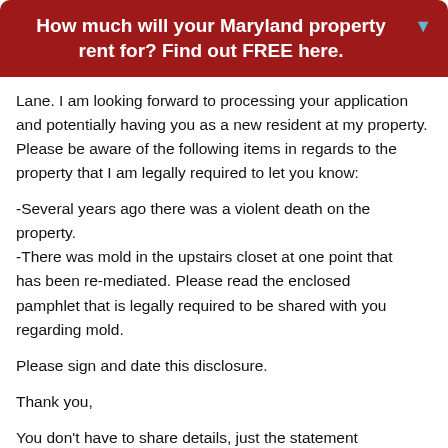How much will your Maryland property rent for? Find out FREE here.
Lane. I am looking forward to processing your application and potentially having you as a new resident at my property. Please be aware of the following items in regards to the property that I am legally required to let you know:
-Several years ago there was a violent death on the property.
-There was mold in the upstairs closet at one point that has been re-mediated. Please read the enclosed pamphlet that is legally required to be shared with you regarding mold.
Please sign and date this disclosure.
Thank you,
You don't have to share details, just the statement that has happened and you are making them aware should suffice, unless more is required by your locale.